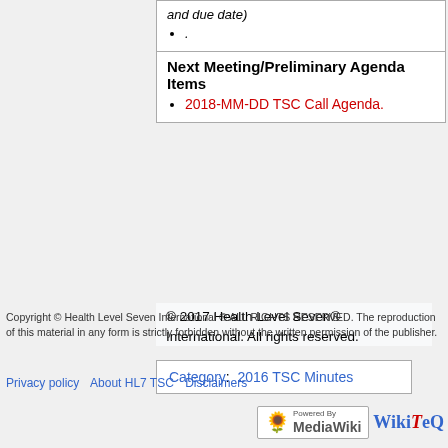| and due date) |  |
| . |  |
| Next Meeting/Preliminary Agenda Items |  |
| 2018-MM-DD TSC Call Agenda. |  |
© 2017 Health Level Seven® International. All rights reserved.
Category:  2016 TSC Minutes
Copyright © Health Level Seven International ® ALL RIGHTS RESERVED. The reproduction of this material in any form is strictly forbidden without the written permission of the publisher.
Privacy policy   About HL7 TSC   Disclaimers